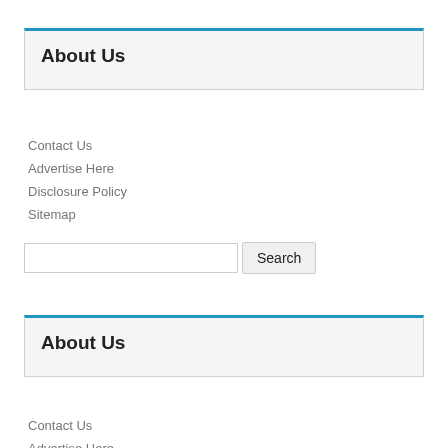About Us
Contact Us
Advertise Here
Disclosure Policy
Sitemap
[Figure (other): Search input field with Search button]
About Us
Contact Us
Advertise Here
Disclosure Policy